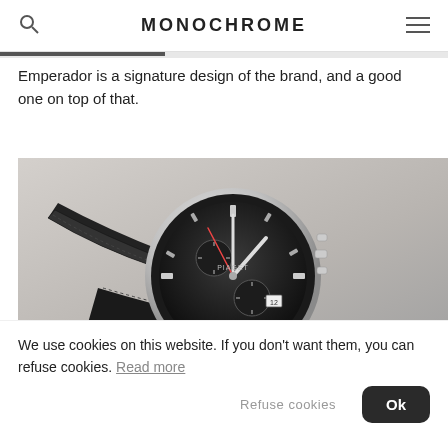MONOCHROME
Emperador is a signature design of the brand, and a good one on top of that.
[Figure (photo): Close-up photo of a luxury chronograph watch with a black dial, silver case, sub-dials, and black leather strap, on a light grey surface.]
We use cookies on this website. If you don't want them, you can refuse cookies. Read more